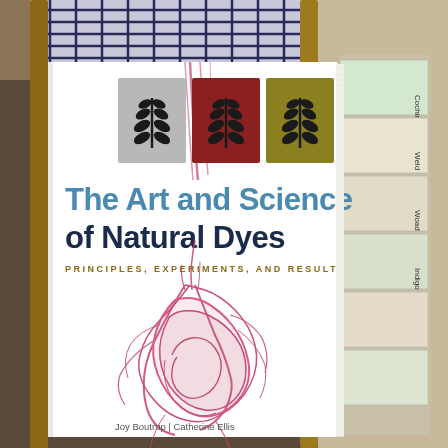[Figure (photo): A photograph of the book 'The Art and Science of Natural Dyes: Principles, Experiments, and Results' by Joy Boutrup and Catherine Ellis. The book cover is white with three colored rectangular panels (gray, dark red/maroon, and olive/gold) each featuring a stylized black plant/leaf motif. Below the panels is the book title in large blue and dark navy text, and a subtitle in small gold/brown uppercase letters. A swirling dark pink/magenta dye diffusion pattern is visible as a background element on the cover. The bottom of the cover shows partial author names. The book is propped against what appears to be a wooden chair with a plaid/checkered fabric, and tabbed index pages are visible on the right side.]